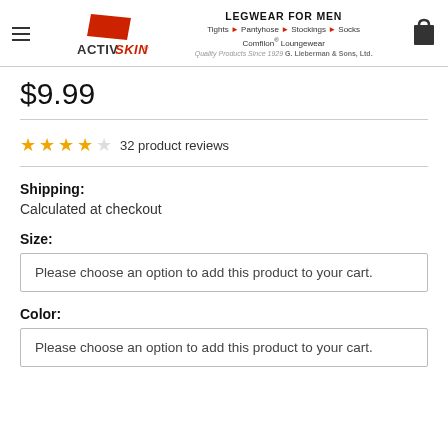ACTIVSKIN — LEGWEAR FOR MEN — Tights • Pantyhose • Stockings • Socks — Comfilon® Loungewear — Quality Products Since 1929 G. Lieberman & Sons, Ltd.
$9.99
32 product reviews
Shipping:
Calculated at checkout
Size:
Please choose an option to add this product to your cart.
Color:
Please choose an option to add this product to your cart.